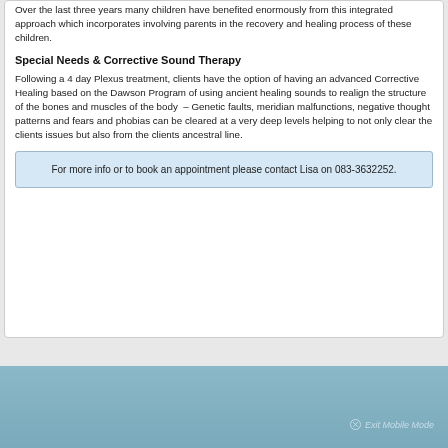Over the last three years many children have benefited enormously from this integrated approach which incorporates involving parents in the recovery and healing process of these children.
Special Needs & Corrective Sound Therapy
Following a 4 day Plexus treatment, clients have the option of having an advanced Corrective Healing based on the Dawson Program of using ancient healing sounds to realign the structure of the bones and muscles of the body  – Genetic faults, meridian malfunctions, negative thought patterns and fears and phobias can be cleared at a very deep levels helping to not only clear the clients issues but also from the clients ancestral line.
For more info or to book an appointment please contact Lisa on 083-3632252.
Exit Mobile Mode